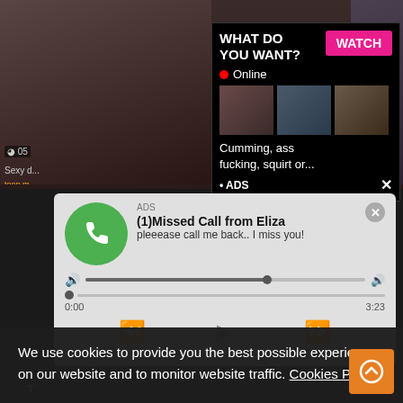[Figure (screenshot): Adult website screenshot showing video thumbnails in background]
[Figure (screenshot): Pop-up ad overlay: black box with 'WHAT DO YOU WANT?' text, pink WATCH button, red Online indicator, thumbnail images, text 'Cumming, ass fucking, squirt or...' with ADS label and X close button]
[Figure (screenshot): Audio ad overlay: light gray box with ADS label, green phone icon circle, bold text '(1)Missed Call from Eliza', subtext 'pleeease call me back.. I miss you!', audio player controls showing 0:00 to 3:23, rewind/play/fast-forward buttons, X close button]
We use cookies to provide you the best possible experience on our website and to monitor website traffic. Cookies Policy.